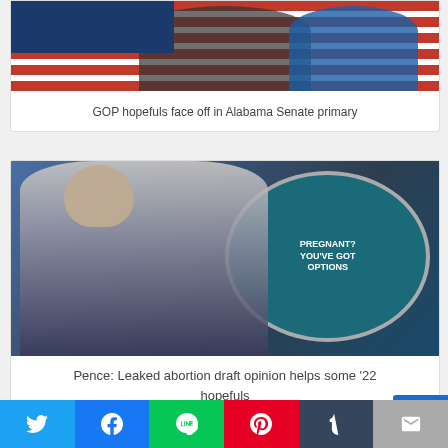[Figure (photo): Two men standing in front of an American flag at a political event for the Alabama Senate GOP primary]
GOP hopefuls face off in Alabama Senate primary
[Figure (photo): Mike Pence speaking outdoors in front of a teal bus with a circular sign reading 'PREGNANT? YOU'VE GOT OPTIONS']
Pence: Leaked abortion draft opinion helps some '22 hopefuls
Social share bar: Twitter, Facebook, LINE, Pinterest, Tumblr, Email